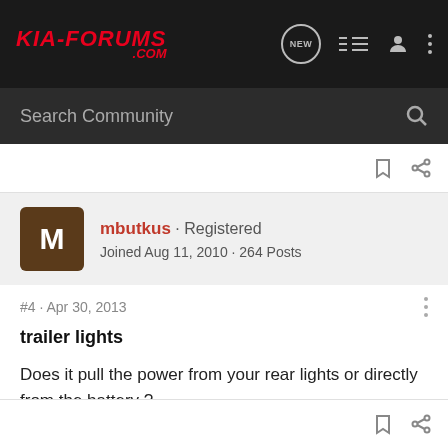KIA-FORUMS.COM
Search Community
mbutkus · Registered
Joined Aug 11, 2010 · 264 Posts
#4 · Apr 30, 2013
trailer lights
Does it pull the power from your rear lights or directly from the battery ?